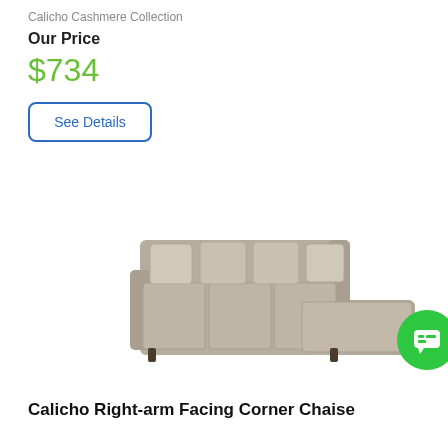Calicho Cashmere Collection
Our Price
$734
See Details
[Figure (photo): A large gray sectional sofa with chaise lounge and decorative pillows, shown from a slight angle]
[Figure (illustration): Chat popup with avatar icon saying 'Hey there, have a question? Chat with us!' and a green chat button]
Calicho Right-arm Facing Corner Chaise